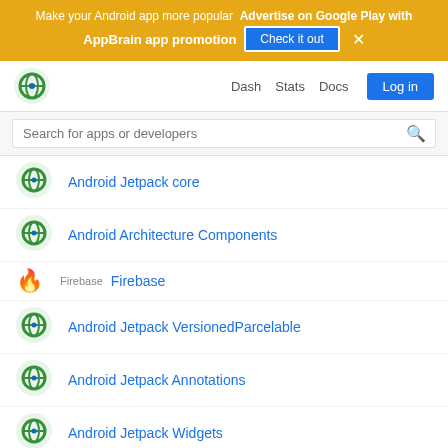Make your Android app more popular  Advertise on Google Play with AppBrain app promotion  Check it out  ×
Dash  Stats  Docs  Log in
Search for apps or developers
Android Jetpack core
Android Architecture Components
Firebase
Android Jetpack VersionedParcelable
Android Jetpack Annotations
Android Jetpack Widgets
Google Cloud Messaging (GCM)
Androi...
Androi...
AndroidX Activity
Want more apps?
Find the Android apps that are trending right now